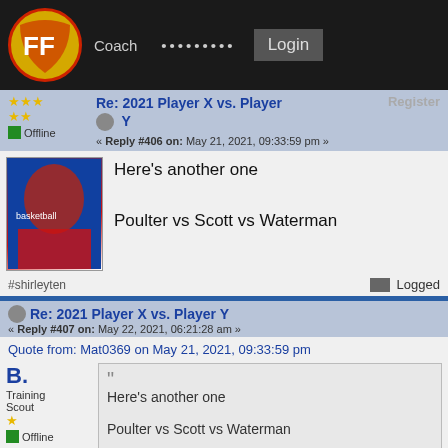FF | Coach | ......... | Login | Register
Re: 2021 Player X vs. Player Y — Reply #406 on: May 21, 2021, 09:33:59 pm
Here's another one

Poulter vs Scott vs Waterman
#shirleyten   Logged
Re: 2021 Player X vs. Player Y — Reply #407 on: May 22, 2021, 06:21:28 am
Quote from: Mat0369 on May 21, 2021, 09:33:59 pm
B.
Training Scout
Offline
Fantasy coach
Here's another one

Poulter vs Scott vs Waterman
Have the same issue